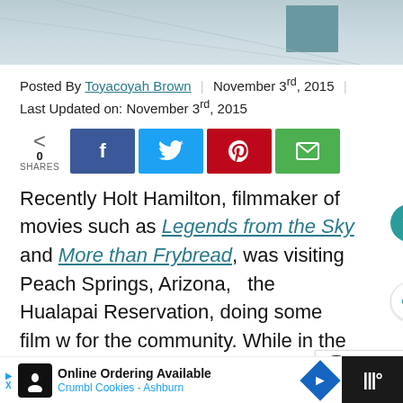[Figure (photo): Partial photo showing a teal/dark box on a light background, cropped at top]
Posted By Toyacoyah Brown | November 3rd, 2015 | Last Updated on: November 3rd, 2015
[Figure (infographic): Social share bar with 0 SHARES count and Facebook, Twitter, Pinterest, Email buttons]
Recently Holt Hamilton, filmmaker of movies such as Legends from the Sky and More than Frybread, was visiting Peach Springs, Arizona, the Hualapai Reservation, doing some film w for the community. While in the area he stopped off at the Boys & Girls Club an around the facility as he usually does;
[Figure (infographic): WHAT'S NEXT panel: Meet the Cas of Legends...]
[Figure (infographic): Online Ordering Available - Crumbl Cookies - Ashburn advertisement bar]